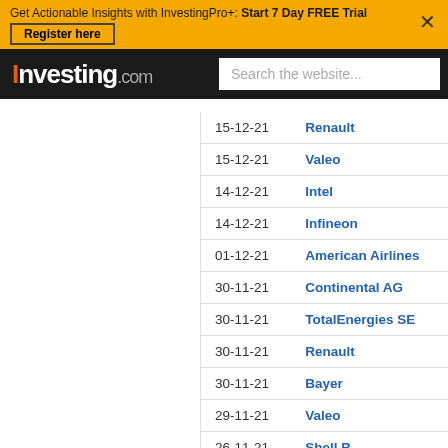Get Actionable Insights with InvestingPro+: Start 7 Day FREE Trial
Register here
Investing.com | Search the website...
| Date | Company |
| --- | --- |
| 15-12-21 | Renault |
| 15-12-21 | Valeo |
| 14-12-21 | Intel |
| 14-12-21 | Infineon |
| 01-12-21 | American Airlines |
| 30-11-21 | Continental AG |
| 30-11-21 | TotalEnergies SE |
| 30-11-21 | Renault |
| 30-11-21 | Bayer |
| 29-11-21 | Valeo |
| 26-11-21 | Shell B |
| 26-11-21 | Ryanair |
| 26-11-21 | Ryanair |
| 26-11-21 | Lufthansa |
| 12-11-21 | Valeo |
| 12-11-21 | Lufthansa |